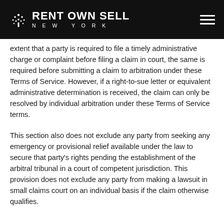RENT OWN SELL NEW YORK
extent that a party is required to file a timely administrative charge or complaint before filing a claim in court, the same is required before submitting a claim to arbitration under these Terms of Service. However, if a right-to-sue letter or equivalent administrative determination is received, the claim can only be resolved by individual arbitration under these Terms of Service terms.
This section also does not exclude any party from seeking any emergency or provisional relief available under the law to secure that party's rights pending the establishment of the arbitral tribunal in a court of competent jurisdiction. This provision does not exclude any party from making a lawsuit in small claims court on an individual basis if the claim otherwise qualifies.